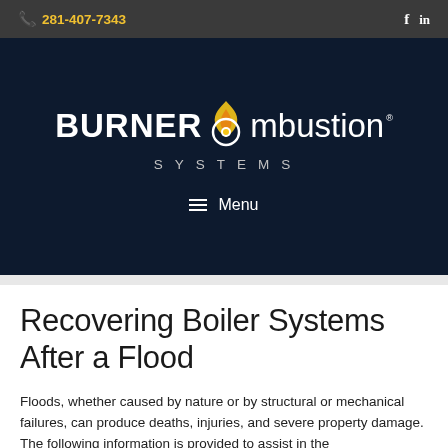📞 281-407-7343  f  in
[Figure (logo): Burner Combustion Systems logo with flame icon on dark navy background, and Menu navigation bar below]
Recovering Boiler Systems After a Flood
Floods, whether caused by nature or by structural or mechanical failures, can produce deaths, injuries, and severe property damage. The following information is provided to assist in the